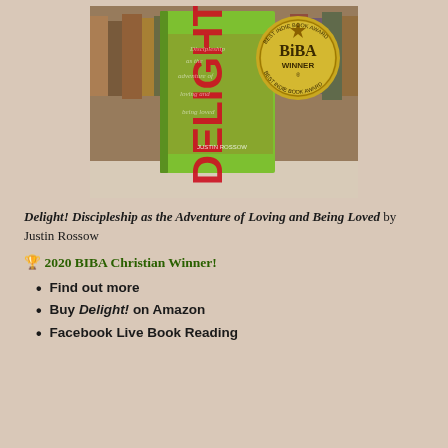[Figure (photo): A green book titled 'Delight!' by Justin Rossow on a library table with the BiBA Best Indie Book Award Winner gold seal in the upper right corner. The book cover shows red text 'DELIGHT!' on a bright green background. Behind the book, text reads 'Discipleship as the adventure of loving and being loved'.]
Delight! Discipleship as the Adventure of Loving and Being Loved by Justin Rossow
🏆 2020 BIBA Christian Winner!
Find out more
Buy Delight! on Amazon
Facebook Live Book Reading